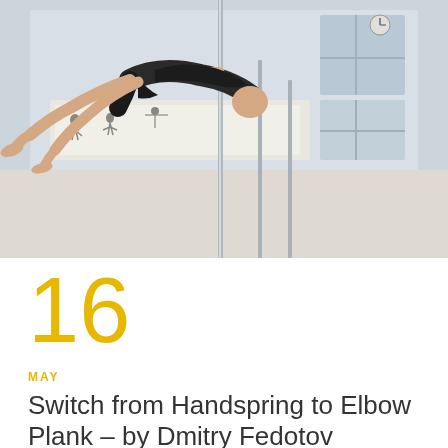[Figure (photo): A person performing a pole dance move — horizontal plank/handspring position on a vertical pole, in a dance studio with instructional posters on the wall in the background. The person is dressed in black and is inverted horizontally gripping the pole.]
16
MAY
Switch from Handspring to Elbow Plank – by Dmitry Fedotov